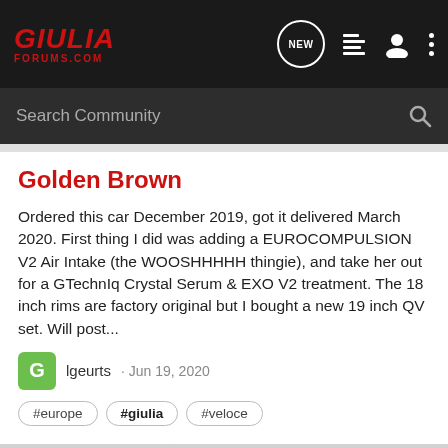GIULIA FORUMS.COM — navigation bar with NEW, list, user, and more icons
Search Community
Golden Brown
Ordered this car December 2019, got it delivered March 2020. First thing I did was adding a EUROCOMPULSION V2 Air Intake (the WOOSHHHHH thingie), and take her out for a GTechnIq Crystal Serum & EXO V2 treatment. The 18 inch rims are factory original but I bought a new 19 inch QV set. Will post...
lgeurts · Jun 19, 2020
#europe  #giulia  #veloce
[Figure (photo): Partial view of a car (Golden Brown colored) showing the hood/roof area in rainy or wet conditions]